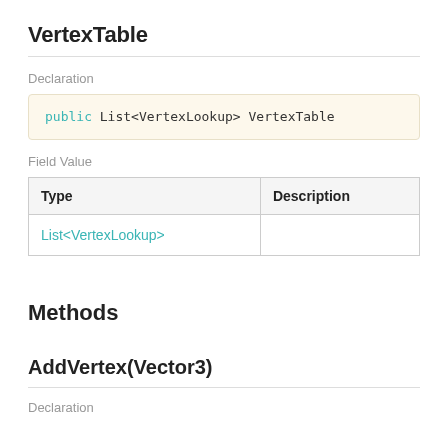VertexTable
Declaration
Field Value
| Type | Description |
| --- | --- |
| List<VertexLookup> |  |
Methods
AddVertex(Vector3)
Declaration